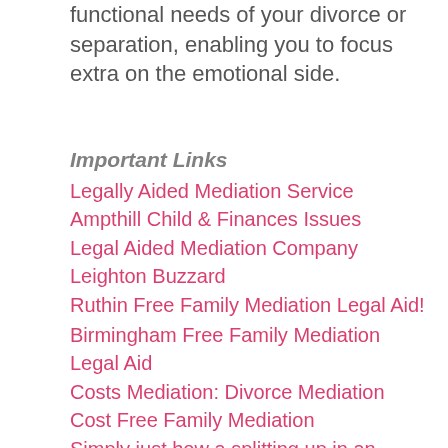functional needs of your divorce or separation, enabling you to focus extra on the emotional side.
Important Links
Legally Aided Mediation Service Ampthill Child & Finances Issues
Legal Aided Mediation Company Leighton Buzzard
Ruthin Free Family Mediation Legal Aid!
Birmingham Free Family Mediation Legal Aid
Costs Mediation: Divorce Mediation Cost Free Family Mediation
Simply just how a splitting up in an organisation ownership … Free Family Mediation
Legal Aid Mediation Company Guildford